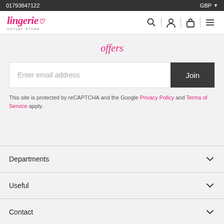01793847122 | GBP
[Figure (logo): Lingerie Outlet Store logo in pink cursive with heart symbol and 'OUTLET STORE' subtitle]
offers
Enter email address
Join
This site is protected by reCAPTCHA and the Google Privacy Policy and Terms of Service apply.
Departments
Useful
Contact